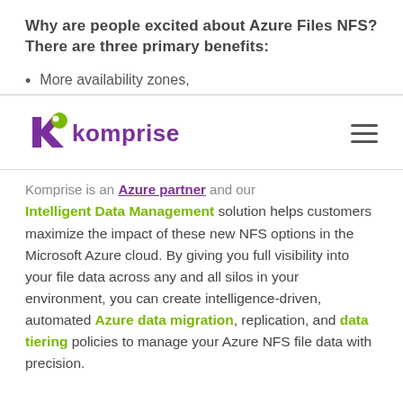Why are people excited about Azure Files NFS? There are three primary benefits:
More availability zones,
[Figure (logo): Komprise logo with purple K icon and green dot, followed by 'komprise' in purple text]
Komprise is an Azure partner and our Intelligent Data Management solution helps customers maximize the impact of these new NFS options in the Microsoft Azure cloud. By giving you full visibility into your file data across any and all silos in your environment, you can create intelligence-driven, automated Azure data migration, replication, and data tiering policies to manage your Azure NFS file data with precision.